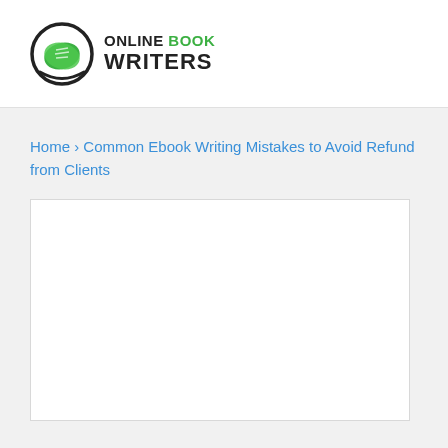[Figure (logo): Online Book Writers logo with green leaf book icon and text 'ONLINE BOOK WRITERS']
Home › Common Ebook Writing Mistakes to Avoid Refund from Clients